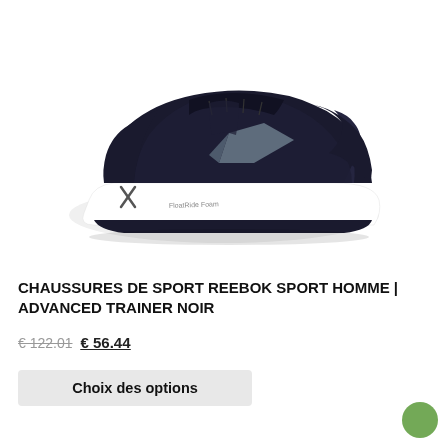[Figure (photo): Black and white Reebok Advanced Trainer sport shoe (men's), side profile view on white background. The shoe features a navy/black mesh upper with a white midsole, Reebok vector logo in grey on the side, and 'Floatride Foam' text on the midsole.]
CHAUSSURES DE SPORT REEBOK SPORT HOMME | ADVANCED TRAINER NOIR
€ 122.01 € 56.44
Choix des options